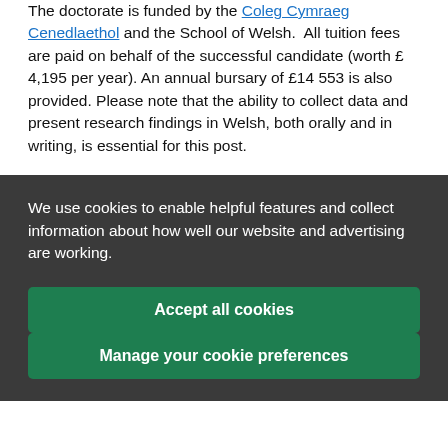The doctorate is funded by the Coleg Cymraeg Cenedlaethol and the School of Welsh. All tuition fees are paid on behalf of the successful candidate (worth £ 4,195 per year). An annual bursary of £14 553 is also provided. Please note that the ability to collect data and present research findings in Welsh, both orally and in writing, is essential for this post.
We use cookies to enable helpful features and collect information about how well our website and advertising are working.
Accept all cookies
Manage your cookie preferences